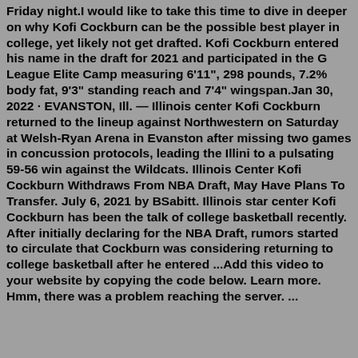Friday night.I would like to take this time to dive in deeper on why Kofi Cockburn can be the possible best player in college, yet likely not get drafted. Kofi Cockburn entered his name in the draft for 2021 and participated in the G League Elite Camp measuring 6'11", 298 pounds, 7.2% body fat, 9'3" standing reach and 7'4" wingspan.Jan 30, 2022 · EVANSTON, Ill. — Illinois center Kofi Cockburn returned to the lineup against Northwestern on Saturday at Welsh-Ryan Arena in Evanston after missing two games in concussion protocols, leading the Illini to a pulsating 59-56 win against the Wildcats. Illinois Center Kofi Cockburn Withdraws From NBA Draft, May Have Plans To Transfer. July 6, 2021 by BSabitt. Illinois star center Kofi Cockburn has been the talk of college basketball recently. After initially declaring for the NBA Draft, rumors started to circulate that Cockburn was considering returning to college basketball after he entered ...Add this video to your website by copying the code below. Learn more. Hmm, there was a problem reaching the server. ...